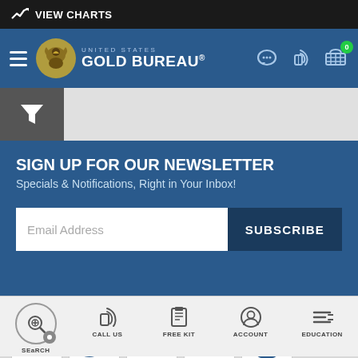VIEW CHARTS
[Figure (screenshot): United States Gold Bureau navigation bar with logo, hamburger menu, chat, phone, and cart icons]
[Figure (other): Filter icon box (funnel/filter symbol)]
SIGN UP FOR OUR NEWSLETTER
Specials & Notifications, Right in Your Inbox!
Email Address
SUBSCRIBE
[Figure (other): Social media icons: Facebook, Twitter, LinkedIn, YouTube, Instagram]
SEARCH   CALL US   FREE KIT   ACCOUNT   EDUCATION